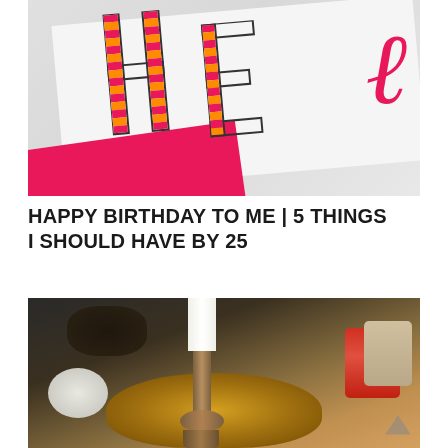[Figure (photo): Close-up photo of a birthday card with striped decorative letters (H, E visible) in pink, orange and magenta stripes on a gray/white background, with a bright pink/magenta ribbon or book spine diagonally across the lower left]
HAPPY BIRTHDAY TO ME | 5 THINGS I SHOULD HAVE BY 25
[Figure (photo): Close-up photo of a fall/autumn table decoration featuring a gold metallic pumpkin, a brass candlestick holding a white candle, white pumpkins, dark berry branches, and an orange-red plate on the right, with warm golden tones throughout]